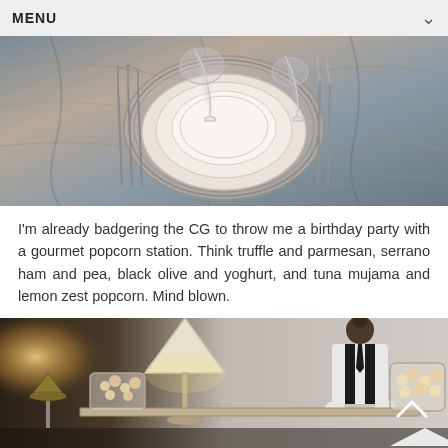MENU
[Figure (photo): Overhead view of an elegant table setting with stacked white plates on a decorative charger, crystal wine glasses, and silverware on a marble or stone patterned tablecloth.]
I'm already badgering the CG to throw me a birthday party with a gourmet popcorn station. Think truffle and parmesan, serrano ham and pea, black olive and yoghurt, and tuna mujama and lemon zest popcorn. Mind blown.
[Figure (photo): A server in a white shirt, black vest and tie stands at a popcorn station with large glass jars of popcorn and warm lamp lighting in the background.]